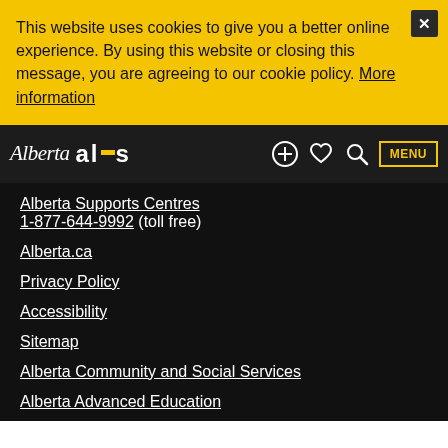This website uses cookies to give you a better online experience. By using this website or closing this message, you are agreeing to our cookie policy. More information
[Figure (screenshot): Alberta ALIS government website navbar with logo, icons, and MENU button]
Alberta Supports Centres
1-877-644-9992 (toll free)
Alberta.ca
Privacy Policy
Accessibility
Sitemap
Alberta Community and Social Services
Alberta Advanced Education